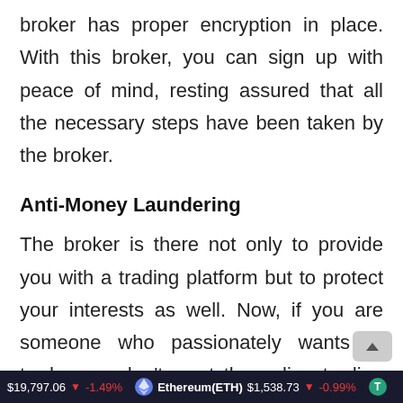broker has proper encryption in place. With this broker, you can sign up with peace of mind, resting assured that all the necessary steps have been taken by the broker.
Anti-Money Laundering
The broker is there not only to provide you with a trading platform but to protect your interests as well. Now, if you are someone who passionately wants to trade, you don't want the online trading industry to ever
$19,797.06 ↓ -1.49%   Ethereum(ETH) $1,538.73 ↓ -0.99%   T